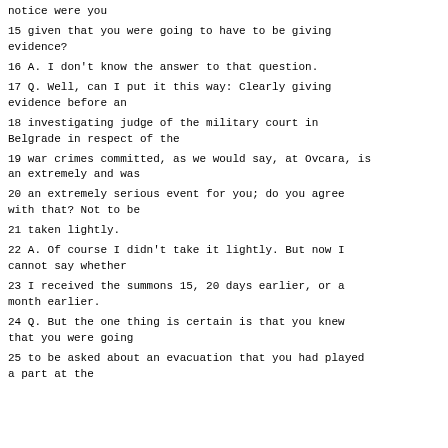notice were you
15 given that you were going to have to be giving evidence?
16 A. I don't know the answer to that question.
17 Q. Well, can I put it this way: Clearly giving evidence before an
18 investigating judge of the military court in Belgrade in respect of the
19 war crimes committed, as we would say, at Ovcara, is an extremely and was
20 an extremely serious event for you; do you agree with that? Not to be
21 taken lightly.
22 A. Of course I didn't take it lightly. But now I cannot say whether
23 I received the summons 15, 20 days earlier, or a month earlier.
24 Q. But the one thing is certain is that you knew that you were going
25 to be asked about an evacuation that you had played a part at the